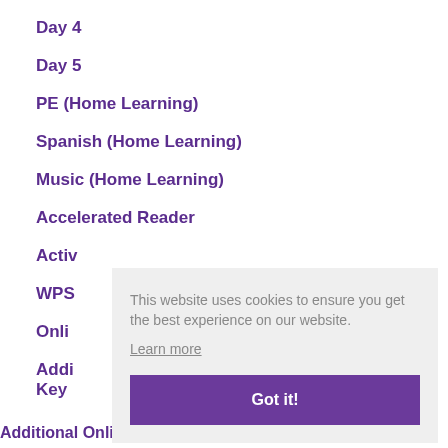Day 4
Day 5
PE (Home Learning)
Spanish (Home Learning)
Music (Home Learning)
Accelerated Reader
Activ…
WPS…
Onli…
Addi… Key…
This website uses cookies to ensure you get the best experience on our website. Learn more
Got it!
Additional Online Resources to Support Home Learning